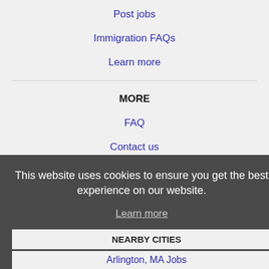Post jobs
Immigration FAQs
Learn more
MORE
FAQ
Contact us
Sitemap
Legal
Privacy
This website uses cookies to ensure you get the best experience on our website.
Learn more
Got it!
NEARBY CITIES
Arlington, MA Jobs
Attleboro, MA Jobs
Barnstable Town, MA Jobs